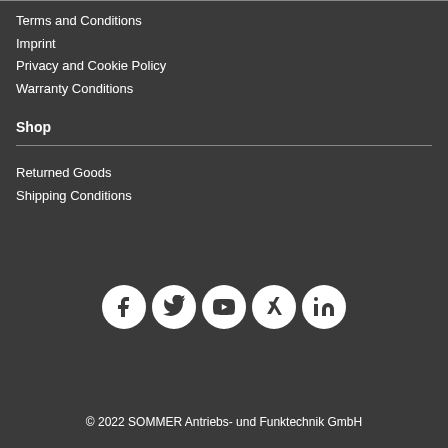Terms and Conditions
Imprint
Privacy and Cookie Policy
Warranty Conditions
Shop
Returned Goods
Shipping Conditions
[Figure (illustration): Social media icons: Facebook, Twitter, YouTube, Xing, LinkedIn]
© 2022 SOMMER Antriebs- und Funktechnik GmbH